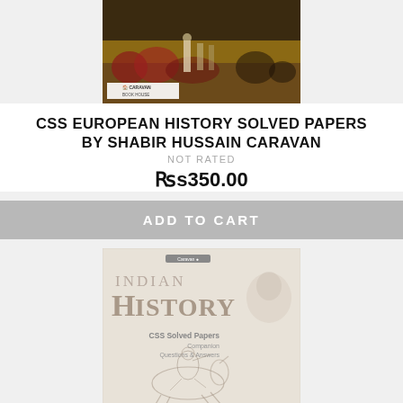[Figure (photo): Book cover of CSS European History Solved Papers showing a historical battle scene painting with soldiers and Napoleon figure, with Caravan Book House logo at bottom left]
CSS EUROPEAN HISTORY SOLVED PAPERS BY SHABIR HUSSAIN CARAVAN
NOT RATED
Rs350.00
ADD TO CART
[Figure (photo): Book cover of Indian History CSS Solved Papers Companion Questions & Answers by Caravan, showing large text INDIAN HISTORY with a sketch of a horse rider at the bottom and a faint face sketch on the right]